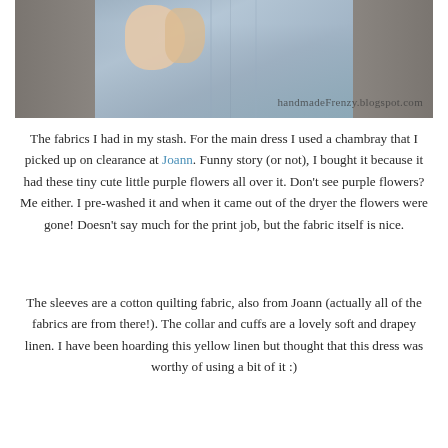[Figure (photo): Close-up photo of a child wearing a blue chambray dress, showing torso and hands holding the dress fabric. Watermark reads 'handmadeFrenzy.blogspot.com']
The fabrics I had in my stash. For the main dress I used a chambray that I picked up on clearance at Joann. Funny story (or not), I bought it because it had these tiny cute little purple flowers all over it. Don't see purple flowers? Me either. I pre-washed it and when it came out of the dryer the flowers were gone! Doesn't say much for the print job, but the fabric itself is nice.
The sleeves are a cotton quilting fabric, also from Joann (actually all of the fabrics are from there!). The collar and cuffs are a lovely soft and drapey linen. I have been hoarding this yellow linen but thought that this dress was worthy of using a bit of it :)